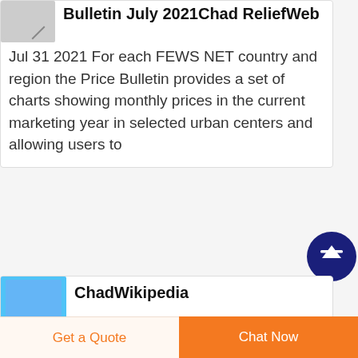Bulletin July 2021Chad ReliefWeb
Jul 31 2021  For each FEWS NET country and region the Price Bulletin provides a set of charts showing monthly prices in the current marketing year in selected urban centers and allowing users to
[Figure (illustration): Scroll to top button - dark navy blue circle with white upward arrow]
ChadWikipedia
Chad is one of the poorest and most corrupt countries in the world most of its inhabitants live in poverty
Get a Quote
Chat Now